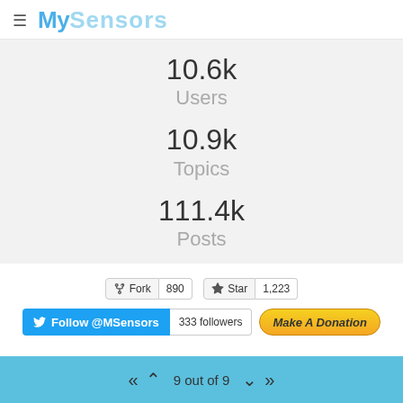MySensors
10.6k Users
10.9k Topics
111.4k Posts
[Figure (screenshot): GitHub Fork button (890) and Star button (1,223), Twitter Follow @MSensors button with 333 followers, and Make A Donation button]
Copyright 2019 Sensnology | Forum Guidelines | Privacy Policy | Terms of Service
9 out of 9